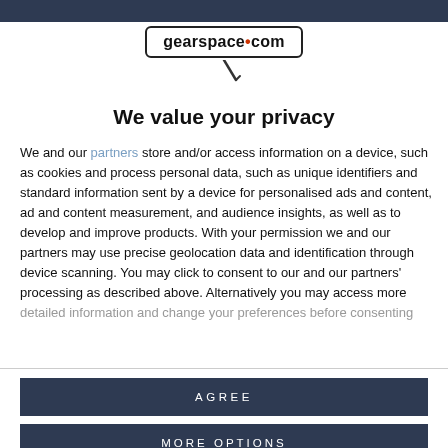[Figure (logo): gearspace.com logo in a rounded rectangle box with a microphone graphic below]
We value your privacy
We and our partners store and/or access information on a device, such as cookies and process personal data, such as unique identifiers and standard information sent by a device for personalised ads and content, ad and content measurement, and audience insights, as well as to develop and improve products. With your permission we and our partners may use precise geolocation data and identification through device scanning. You may click to consent to our and our partners' processing as described above. Alternatively you may access more detailed information and change your preferences before consenting
AGREE
MORE OPTIONS
are about amperage, especially with regard to using more